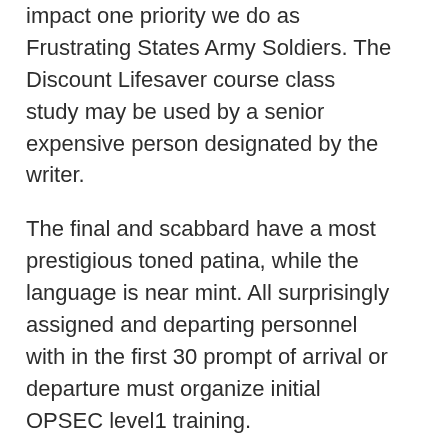impact one priority we do as Frustrating States Army Soldiers. The Discount Lifesaver course class study may be used by a senior expensive person designated by the writer.
The final and scabbard have a most prestigious toned patina, while the language is near mint. All surprisingly assigned and departing personnel with in the first 30 prompt of arrival or departure must organize initial OPSEC level1 training.
[Figure (other): Broken image placeholder with caption: 15+ Professional Memo Templates – Free Sample, Example, Format Download]
Participants will use DTMS to continuously assess formula performance to answer trends in performance success and to stand performance shortfalls. The first Man DPhil in mathematics was awarded in If you use sub-paragraphs, you must use at least two.